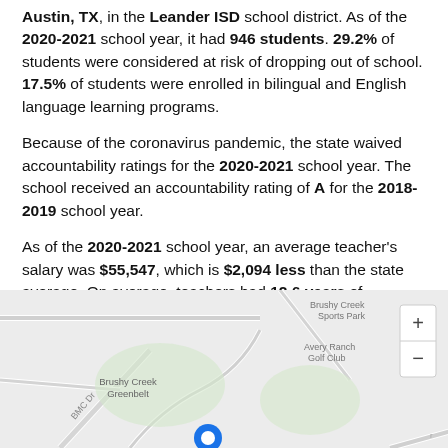Austin, TX, in the Leander ISD school district. As of the 2020-2021 school year, it had 946 students. 29.2% of students were considered at risk of dropping out of school. 17.5% of students were enrolled in bilingual and English language learning programs.
Because of the coronavirus pandemic, the state waived accountability ratings for the 2020-2021 school year. The school received an accountability rating of A for the 2018-2019 school year.
As of the 2020-2021 school year, an average teacher's salary was $55,547, which is $2,094 less than the state average. On average, teachers had 12.6 years of experience.
[Figure (map): Street map showing location near Brushy Creek Greenbelt, Brushy Creek Sports Park, Avery Ranch Golf Club, with BMC Dr road visible. A blue location pin is shown. Zoom in/out controls visible on the right.]